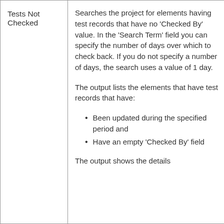|  |  |  |
| --- | --- | --- |
| Tests Not Checked | Searches the project for elements having test records that have no 'Checked By' value. In the 'Search Term' field you can specify the number of days over which to check back. If you do not specify a number of days, the search uses a value of 1 day.

The output lists the elements that have test records that have:

• Been updated during the specified period and
• Have an empty 'Checked By' field

The output shows the details of each ... |  |